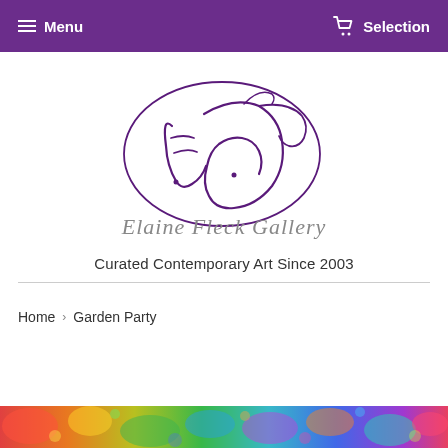Menu  Selection
[Figure (logo): Elaine Fleck Gallery logo — decorative cursive EF monogram inside an oval, with 'Elaine Fleck Gallery' in italic script below, in purple/violet tones]
Curated Contemporary Art Since 2003
Home › Garden Party
[Figure (photo): Colorful painting with vibrant reds, blues, greens, and pinks — partially visible at bottom of page]